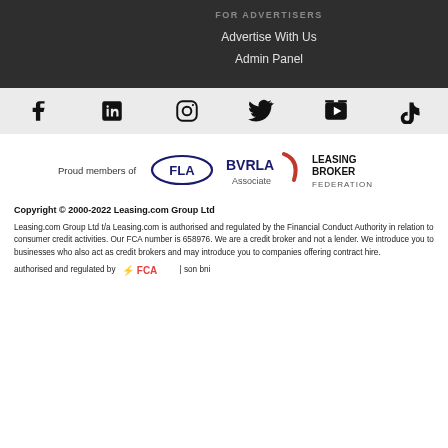FOR ADVERTISERS
Advertise With Us
Admin Panel
[Figure (other): Social media icons: Facebook, LinkedIn, Instagram, Twitter, YouTube, TikTok]
[Figure (other): Proud members of logos: FLA, BVRLA Associate, Leasing Broker Federation]
Copyright © 2000-2022 Leasing.com Group Ltd
Leasing.com Group Ltd t/a Leasing.com is authorised and regulated by the Financial Conduct Authority in relation to consumer credit activities. Our FCA number is 658976. We are a credit broker and not a lender. We introduce you to businesses who also act as credit brokers and may introduce you to companies offering contract hire.